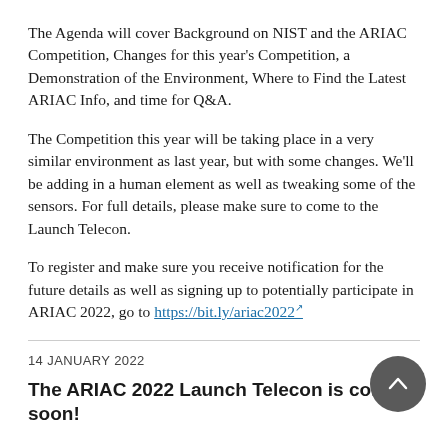The Agenda will cover Background on NIST and the ARIAC Competition, Changes for this year's Competition, a Demonstration of the Environment, Where to Find the Latest ARIAC Info, and time for Q&A.
The Competition this year will be taking place in a very similar environment as last year, but with some changes. We'll be adding in a human element as well as tweaking some of the sensors. For full details, please make sure to come to the Launch Telecon.
To register and make sure you receive notification for the future details as well as signing up to potentially participate in ARIAC 2022, go to https://bit.ly/ariac2022
14 JANUARY 2022
The ARIAC 2022 Launch Telecon is coming soon!